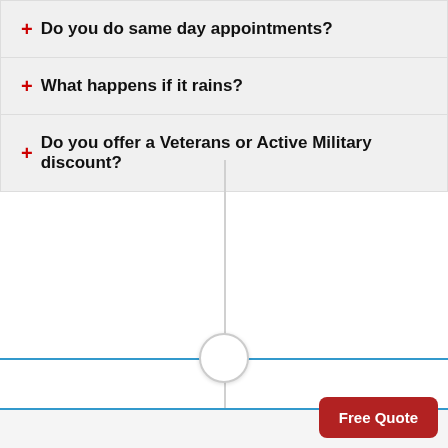+ Do you do same day appointments?
+ What happens if it rains?
+ Do you offer a Veterans or Active Military discount?
[Figure (other): Vertical scrollbar / divider line with a circular drag handle knob centered on the page, intersected by two horizontal blue lines forming a section divider]
Free Quote